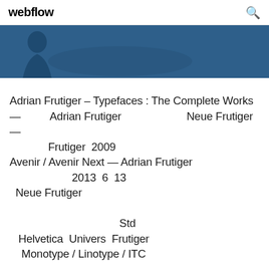webflow
[Figure (photo): Dark blue banner with a partial figure silhouette on the left side]
Adrian Frutiger – Typefaces : The Complete Works — Adrian Frutiger Neue Frutiger — Frutiger 2009 Avenir / Avenir Next — Adrian Frutiger 2013 6 13 Neue Frutiger Std Helvetica Univers Frutiger Monotype / Linotype / ITC